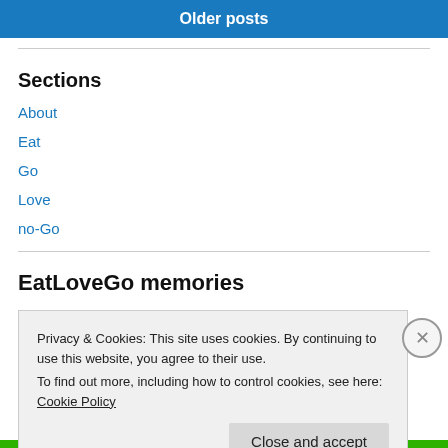Older posts
Sections
About
Eat
Go
Love
no-Go
EatLoveGo memories
Privacy & Cookies: This site uses cookies. By continuing to use this website, you agree to their use. To find out more, including how to control cookies, see here: Cookie Policy
Close and accept